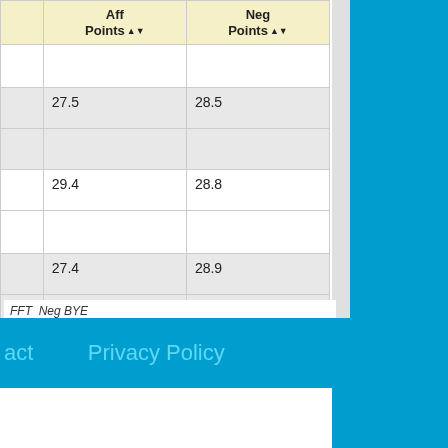|  | Aff Points | Neg Points |
| --- | --- | --- |
|  |  |  |
|  | 27.5 | 28.5 |
|  |  |  |
|  | 29.4 | 28.8 |
|  |  |  |
|  | 27.4 | 28.9 |
|  |  |  |
FFT  Neg BYE
act        Privacy Policy